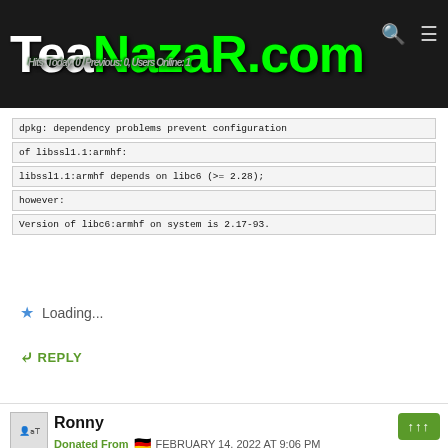TeaNazaR.com — Hits: Today: 0 / Previous: 0, Users Online: 1
dpkg: dependency problems prevent configuration of libssl1.1:armhf:
libssl1.1:armhf depends on libc6 (>= 2.28);
however:
Version of libc6:armhf on system is 2.17-93.
Loading...
REPLY
Ronny
Donated From  🇩🇪  FEBRUARY 14, 2022 AT 9:06 PM
Hello Nazar,
thanx for your reply, it was just a try...